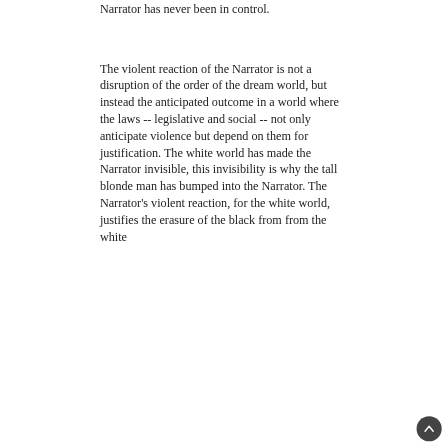Narrator has never been in control.
The violent reaction of the Narrator is not a disruption of the order of the dream world, but instead the anticipated outcome in a world where the laws -- legislative and social -- not only anticipate violence but depend on them for justification. The white world has made the Narrator invisible, this invisibility is why the tall blonde man has bumped into the Narrator. The Narrator’s violent reaction, for the white world, justifies the erasure of the black from from the white